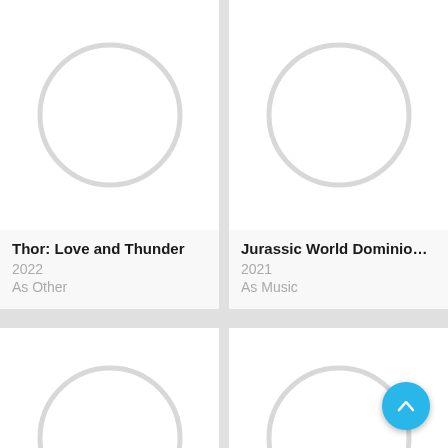[Figure (other): Loading spinner circle placeholder for Thor: Love and Thunder movie poster]
Thor: Love and Thunder
2022
As Other
[Figure (other): Loading spinner circle placeholder for Jurassic World Dominion movie poster]
Jurassic World Dominion: Th...
2021
As Music
[Figure (other): Loading spinner circle placeholder for bottom-left movie poster]
[Figure (other): Loading spinner circle placeholder for bottom-right movie poster]